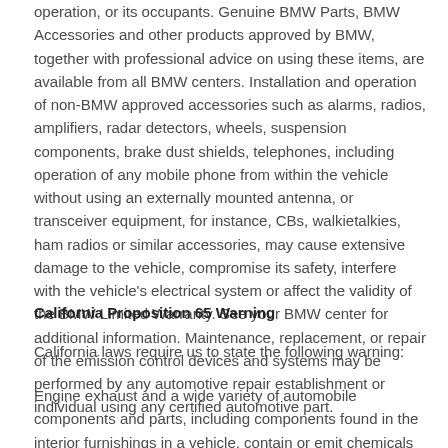operation, or its occupants. Genuine BMW Parts, BMW Accessories and other products approved by BMW, together with professional advice on using these items, are available from all BMW centers. Installation and operation of non-BMW approved accessories such as alarms, radios, amplifiers, radar detectors, wheels, suspension components, brake dust shields, telephones, including operation of any mobile phone from within the vehicle without using an externally mounted antenna, or transceiver equipment, for instance, CBs, walkietalkies, ham radios or similar accessories, may cause extensive damage to the vehicle, compromise its safety, interfere with the vehicle's electrical system or affect the validity of the BMW Limited Warranty. See your BMW center for additional information. Maintenance, replacement, or repair of the emission control devices and systems may be performed by any automotive repair establishment or individual using any certified automotive part.
California Proposition 65 Warning
California laws require us to state the following warning:
Engine exhaust and a wide variety of automobile components and parts, including components found in the interior furnishings in a vehicle, contain or emit chemicals known to the State of California to cause